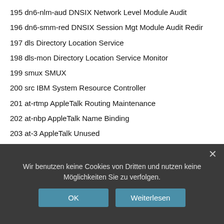195 dn6-nlm-aud DNSIX Network Level Module Audit
196 dn6-smm-red DNSIX Session Mgt Module Audit Redir
197 dls Directory Location Service
198 dls-mon Directory Location Service Monitor
199 smux SMUX
200 src IBM System Resource Controller
201 at-rtmp AppleTalk Routing Maintenance
202 at-nbp AppleTalk Name Binding
203 at-3 AppleTalk Unused
204 at-echo AppleTalk Echo
205 at-5 AppleTalk Unused
206 at-zis AppleTalk Zone Information
207 at-7 AppleTalk Unused
Wir benutzen keine Cookies von Dritten und nutzen keine Möglichkeiten Sie zu verfolgen.